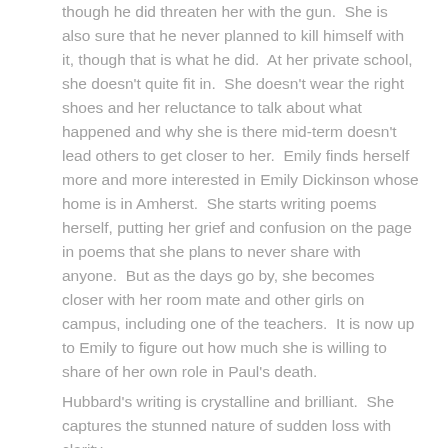though he did threaten her with the gun.  She is also sure that he never planned to kill himself with it, though that is what he did.  At her private school, she doesn't quite fit in.  She doesn't wear the right shoes and her reluctance to talk about what happened and why she is there mid-term doesn't lead others to get closer to her.  Emily finds herself more and more interested in Emily Dickinson whose home is in Amherst.  She starts writing poems herself, putting her grief and confusion on the page in poems that she plans to never share with anyone.  But as the days go by, she becomes closer with her room mate and other girls on campus, including one of the teachers.  It is now up to Emily to figure out how much she is willing to share of her own role in Paul's death.
Hubbard's writing is crystalline and brilliant.  She captures the stunned nature of sudden loss with clarity